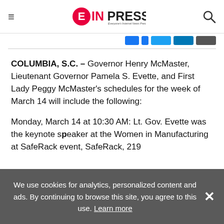EINPresswire — Everyone's Internet News Presswire
COLUMBIA, S.C. – Governor Henry McMaster, Lieutenant Governor Pamela S. Evette, and First Lady Peggy McMaster's schedules for the week of March 14 will include the following:
Monday, March 14 at 10:30 AM: Lt. Gov. Evette was the keynote speaker at the Women in Manufacturing at SafeRack event, SafeRack, 219
We use cookies for analytics, personalized content and ads. By continuing to browse this site, you agree to this use. Learn more